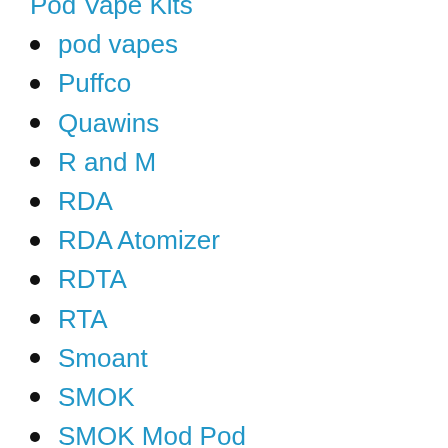Pod Vape Kits
pod vapes
Puffco
Quawins
R and M
RDA
RDA Atomizer
RDTA
RTA
Smoant
SMOK
SMOK Mod Pod
Smok Nfix
SMOK Pod System
SMOK Vape
SMOK Vape Mod
Squonk Mod